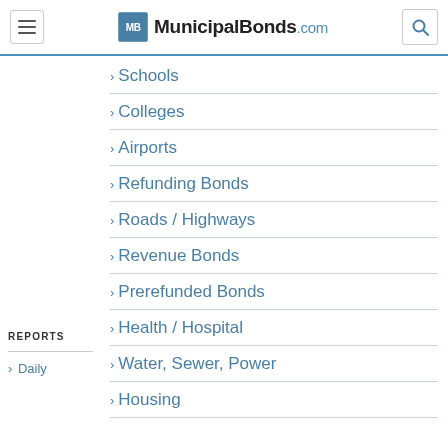MunicipalBonds.com
Schools
Colleges
Airports
Refunding Bonds
Roads / Highways
Revenue Bonds
Prerefunded Bonds
Health / Hospital
Water, Sewer, Power
Housing
REPORTS
Daily